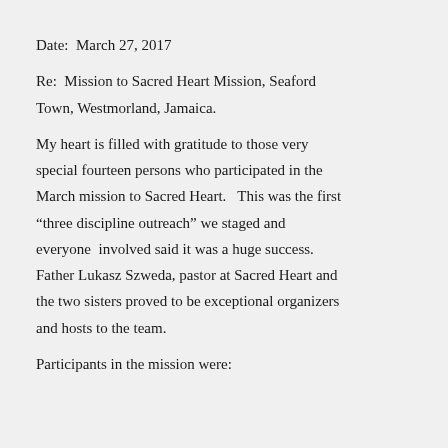Date:  March 27, 2017
Re:  Mission to Sacred Heart Mission, Seaford Town, Westmorland, Jamaica.
My heart is filled with gratitude to those very special fourteen persons who participated in the March mission to Sacred Heart.   This was the first “three discipline outreach” we staged and everyone  involved said it was a huge success. Father Lukasz Szweda, pastor at Sacred Heart and the two sisters proved to be exceptional organizers and hosts to the team.
Participants in the mission were: